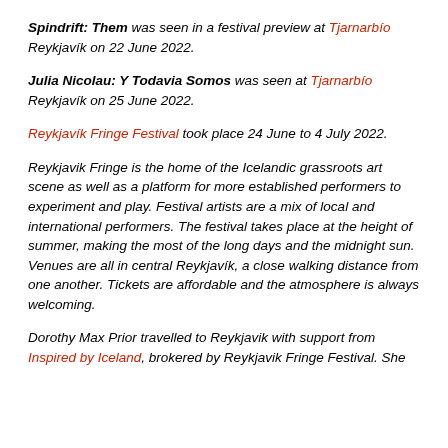Spindrift: Them was seen in a festival preview at Tjarnarbío Reykjavík on 22 June 2022.
Julia Nicolau: Y Todavia Somos was seen at Tjarnarbío Reykjavík on 25 June 2022.
Reykjavík Fringe Festival took place 24 June to 4 July 2022.
Reykjavik Fringe is the home of the Icelandic grassroots art scene as well as a platform for more established performers to experiment and play. Festival artists are a mix of local and international performers. The festival takes place at the height of summer, making the most of the long days and the midnight sun. Venues are all in central Reykjavík, a close walking distance from one another. Tickets are affordable and the atmosphere is always welcoming.
Dorothy Max Prior travelled to Reykjavik with support from Inspired by Iceland, brokered by Reykjavik Fringe Festival. She